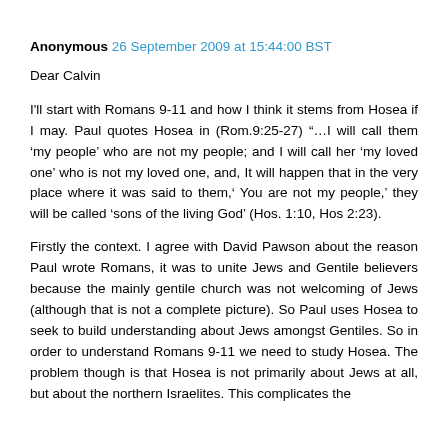Anonymous 26 September 2009 at 15:44:00 BST
Dear Calvin
I'll start with Romans 9-11 and how I think it stems from Hosea if I may. Paul quotes Hosea in (Rom.9:25-27) “…I will call them ‘my people’ who are not my people; and I will call her ‘my loved one’ who is not my loved one, and, It will happen that in the very place where it was said to them,‘ You are not my people,’ they will be called ‘sons of the living God’ (Hos. 1:10, Hos 2:23).
Firstly the context. I agree with David Pawson about the reason Paul wrote Romans, it was to unite Jews and Gentile believers because the mainly gentile church was not welcoming of Jews (although that is not a complete picture). So Paul uses Hosea to seek to build understanding about Jews amongst Gentiles. So in order to understand Romans 9-11 we need to study Hosea. The problem though is that Hosea is not primarily about Jews at all, but about the northern Israelites. This complicates the picture between us on our reading of Paul...